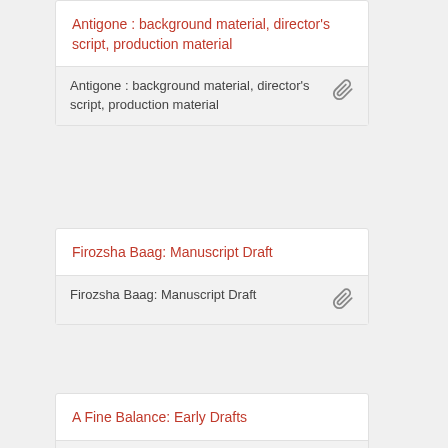Antigone : background material, director's script, production material
Antigone : background material, director's script, production material
Firozsha Baag: Manuscript Draft
Firozsha Baag: Manuscript Draft
A Fine Balance: Early Drafts
A Fine Balance: Early Drafts